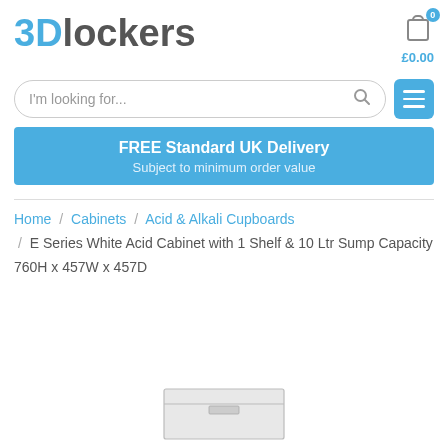[Figure (logo): 3Dlockers logo with '3D' in blue and 'lockers' in dark grey]
[Figure (other): Shopping cart icon with blue badge showing 0 and price £0.00]
[Figure (other): Search bar with placeholder text 'I'm looking for...' and hamburger menu button in blue]
FREE Standard UK Delivery
Subject to minimum order value
Home / Cabinets / Acid & Alkali Cupboards / E Series White Acid Cabinet with 1 Shelf & 10 Ltr Sump Capacity 760H x 457W x 457D
[Figure (photo): Partial product image of white acid cabinet at bottom of page]